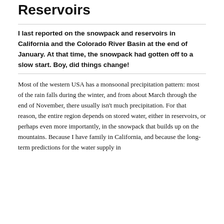Reservoirs
I last reported on the snowpack and reservoirs in California and the Colorado River Basin at the end of January. At that time, the snowpack had gotten off to a slow start. Boy, did things change!
Most of the western USA has a monsoonal precipitation pattern: most of the rain falls during the winter, and from about March through the end of November, there usually isn't much precipitation. For that reason, the entire region depends on stored water, either in reservoirs, or perhaps even more importantly, in the snowpack that builds up on the mountains. Because I have family in California, and because the long-term predictions for the water supply in